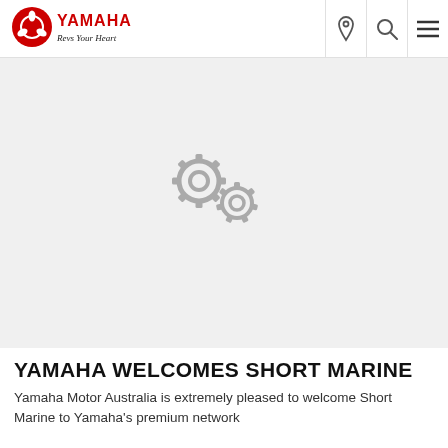[Figure (logo): Yamaha logo with red tuning fork emblem and 'Revs Your Heart' tagline in black text on white background]
[Figure (illustration): Two interlocking gray gear icons on light gray background, indicating loading or settings]
YAMAHA WELCOMES SHORT MARINE
Yamaha Motor Australia is extremely pleased to welcome Short Marine to Yamaha's premium network